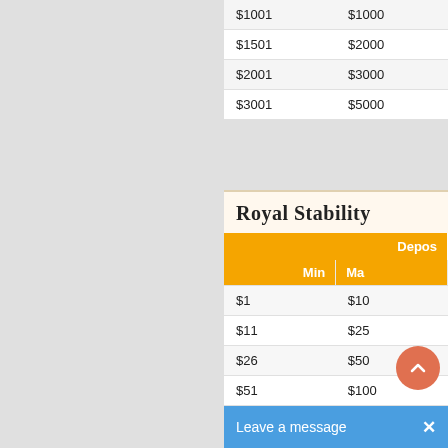| Min | Max |
| --- | --- |
| $1001 | $1000 |
| $1501 | $2000 |
| $2001 | $3000 |
| $3001 | $5000 |
Royal Stability
| Deposit |  |
| --- | --- |
| Min | Max |
| $1 | $10 |
| $11 | $25 |
| $26 | $50 |
| $51 | $100 |
| $101 | $200 |
| $201 | $300 |
| $301 | $500 |
| $501 | $700 |
| $701 | $1000 |
| $1001 | $1500 |